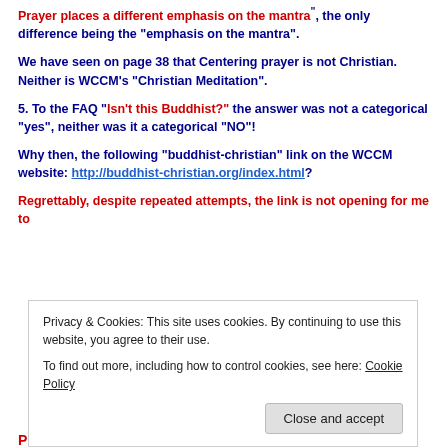Prayer places a different emphasis on the mantra", the only difference being the "emphasis on the mantra".
We have seen on page 38 that Centering prayer is not Christian. Neither is WCCM’s “Christian Meditation”.
5. To the FAQ “Isn’t this Buddhist?” the answer was not a categorical “yes”, neither was it a categorical “NO”!
Why then, the following “buddhist-christian” link on the WCCM website: http://buddhist-christian.org/index.html?
Regrettably, despite repeated attempts, the link is not opening for me to
Privacy & Cookies: This site uses cookies. By continuing to use this website, you agree to their use.
To find out more, including how to control cookies, see here: Cookie Policy
Close and accept
PEREIRA ON THE WCCM WEBSITE